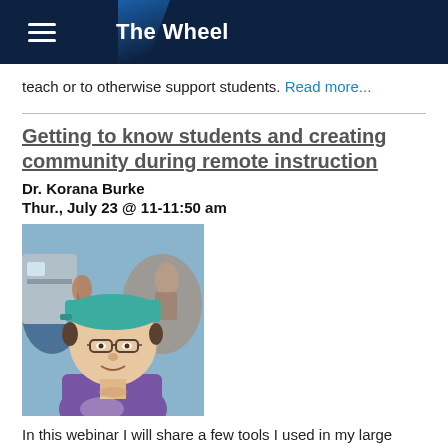The Wheel
teach or to otherwise support students. Read more...
Getting to know students and creating community during remote instruction
Dr. Korana Burke
Thur., July 23 @ 11-11:50 am
[Figure (photo): Headshot of Dr. Korana Burke wearing a teal cap and purple shirt, outdoors at a crowded event.]
In this webinar I will share a few tools I used in my large